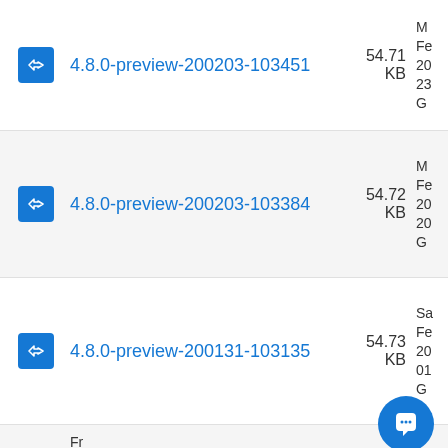4.8.0-preview-200203-103451  54.71 KB  M Fe 20 23 G
4.8.0-preview-200203-103384  54.72 KB  M Fe 20 20 G
4.8.0-preview-200131-103135  54.73 KB  Sa Fe 20 01 G
Fr